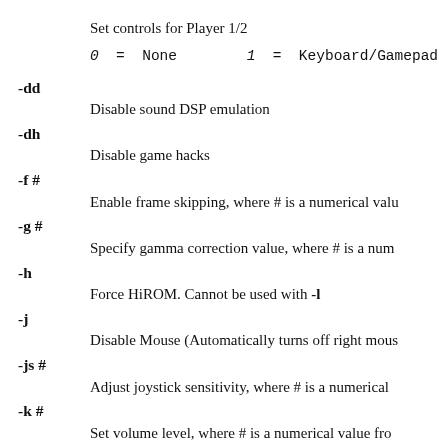Set controls for Player 1/2
0 = None    1 = Keyboard/Gamepad
-dd
    Disable sound DSP emulation
-dh
    Disable game hacks
-f #
    Enable frame skipping, where # is a numerical valu
-g #
    Specify gamma correction value, where # is a num
-h
    Force HiROM. Cannot be used with -l
-j
    Disable Mouse (Automatically turns off right mous
-js #
    Adjust joystick sensitivity, where # is a numerical
-k #
    Set volume level, where # is a numerical value fro
-l